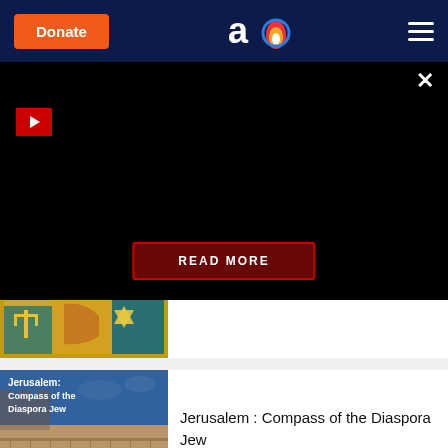Donate | Aish.com logo | Menu
[Figure (screenshot): Dark video panel with red play button and READ MORE button overlay]
[Figure (illustration): Partial thumbnail showing Jewish holiday icons on colored background]
[Figure (photo): Jerusalem city walls with text overlay: Jerusalem: Compass of the Diaspora Jew]
Jerusalem : Compass of the Diaspora Jew
[Figure (photo): Rosh Hashanah themed image with red pomegranate]
Rosh Hashanah Dictionary